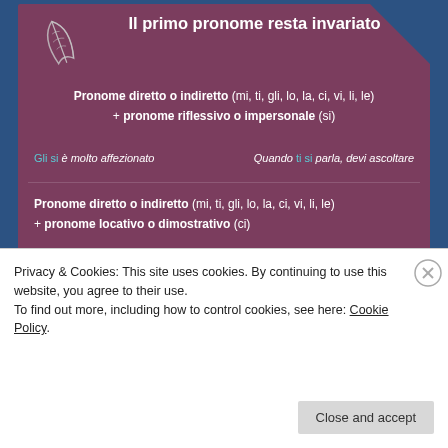Il primo pronome resta invariato
Pronome diretto o indiretto (mi, ti, gli, lo, la, ci, vi, li, le) + pronome riflessivo o impersonale (si)
Gli si è molto affezionato    Quando ti si parla, devi ascoltare
Pronome diretto o indiretto (mi, ti, gli, lo, la, ci, vi, li, le) + pronome locativo o dimostrativo (ci)
A scuola ti ci accompagna mamma    Non ci si crede!
KAPPA LANGUAGE SCHOOL
Via del Boschetto, 32 - Roma
www.kitaliano.com
Privacy & Cookies: This site uses cookies. By continuing to use this website, you agree to their use.
To find out more, including how to control cookies, see here: Cookie Policy